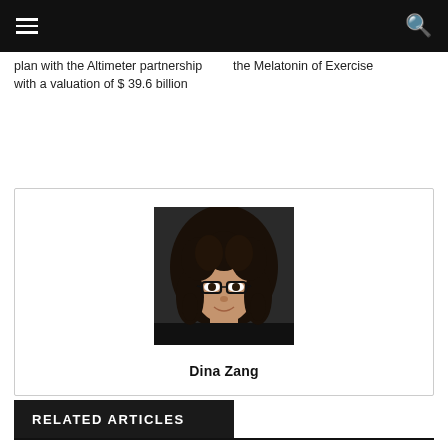Navigation bar with menu and search icons
plan with the Altimeter partnership with a valuation of $ 39.6 billion
the Melatonin of Exercise
[Figure (photo): Portrait photo of Dina Zang, a woman with dark curly hair and glasses, smiling]
Dina Zang
RELATED ARTICLES